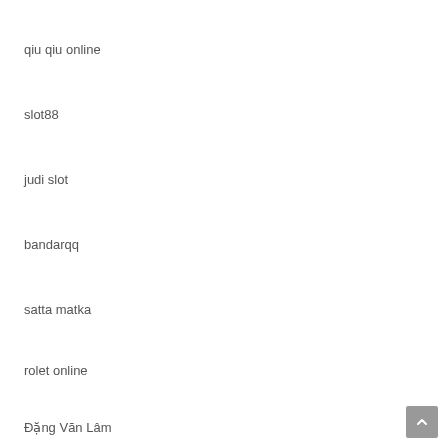qiu qiu online
slot88
judi slot
bandarqq
satta matka
rolet online
Đặng Văn Lâm